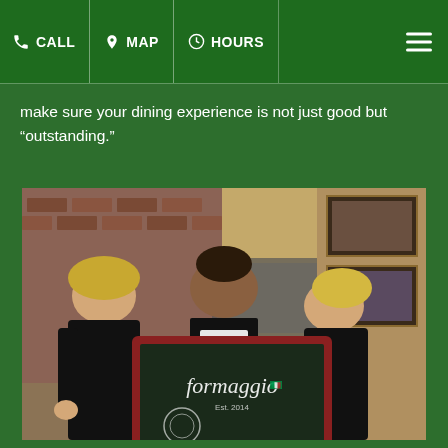CALL | MAP | HOURS | ☰
make sure your dining experience is not just good but "outstanding."
[Figure (photo): Three staff members inside Formaggio restaurant holding a chalkboard sign that reads 'Formaggio Est. 2014'. A woman on the left in black shirt, a man in the center wearing a white apron, and a young woman on the right in a black shirt. Restaurant kitchen and wall decorations visible in background.]